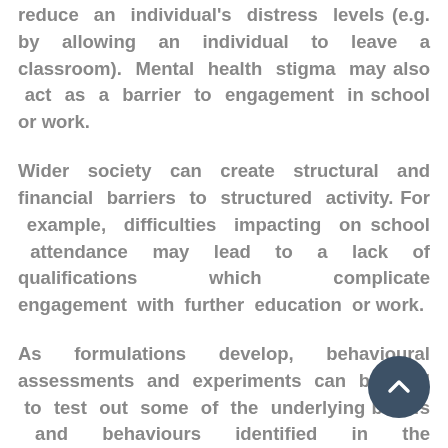reduce an individual's distress levels (e.g. by allowing an individual to leave a classroom). Mental health stigma may also act as a barrier to engagement in school or work.
Wider society can create structural and financial barriers to structured activity. For example, difficulties impacting on school attendance may lead to a lack of qualifications which complicate engagement with further education or work.
As formulations develop, behavioural assessments and experiments can be used to test out some of the underlying beliefs and behaviours identified in the assessment and formulation phase. It is